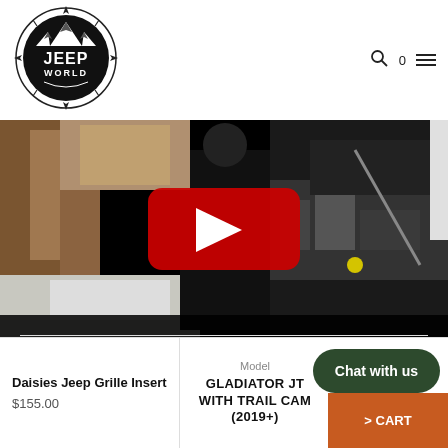[Figure (logo): Jeep World circular logo with mountain illustration and compass directions]
[Figure (screenshot): YouTube video thumbnail showing a person working on a Jeep engine in a garage, with YouTube play button overlay]
Daisies Jeep Grille Insert
$155.00
Model
GLADIATOR JT WITH TRAIL CAM (2019+)
Chat with us
CART